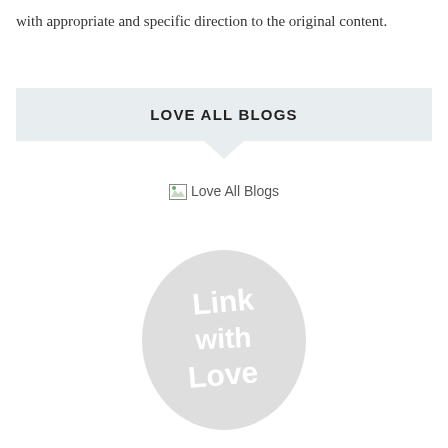with appropriate and specific direction to the original content.
LOVE ALL BLOGS
[Figure (illustration): Broken image placeholder showing 'Love All Blogs' alt text with small broken image icon]
[Figure (logo): Circular grey badge/logo with handwritten-style white text reading 'Link with Love']